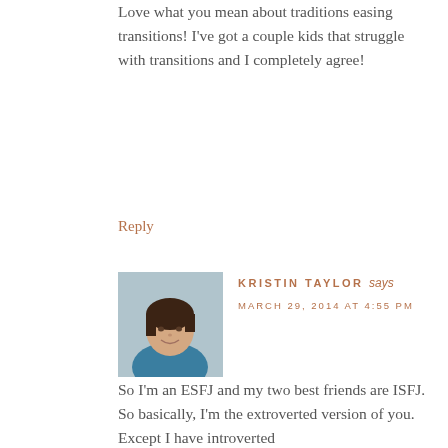Love what you mean about traditions easing transitions! I've got a couple kids that struggle with transitions and I completely agree!
Reply
[Figure (photo): Avatar photo of Kristin Taylor, a woman with short brown hair wearing a blue top, smiling]
KRISTIN TAYLOR says
MARCH 29, 2014 AT 4:55 PM
So I'm an ESFJ and my two best friends are ISFJ. So basically, I'm the extroverted version of you. Except I have introverted